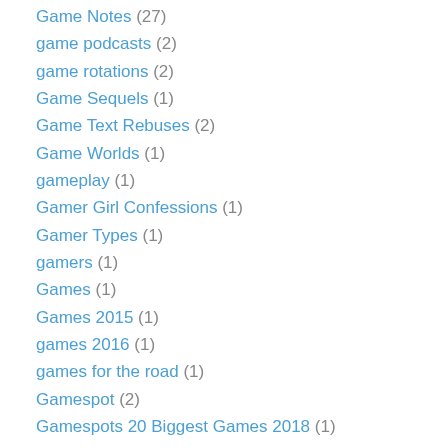Game Notes (27)
game podcasts (2)
game rotations (2)
Game Sequels (1)
Game Text Rebuses (2)
Game Worlds (1)
gameplay (1)
Gamer Girl Confessions (1)
Gamer Types (1)
gamers (1)
Games (1)
Games 2015 (1)
games 2016 (1)
games for the road (1)
Gamespot (2)
Gamespots 20 Biggest Games 2018 (1)
gaming (1)
Gaming Blog Post Ideas (1)
Gaming Goals (2)
Gaming Goals 2017 (1)